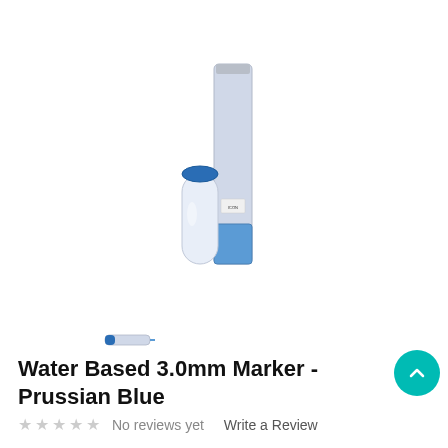[Figure (photo): Product photo of a Water Based 3.0mm Marker in Prussian Blue. Shows the marker pen standing upright with its cap removed and placed beside it. The marker body is silver/grey with blue accents and cap. Text on the marker reads 'BASED MARKER HIGH OPACITY MATT FINISH'.]
[Figure (photo): Small thumbnail image of the same marker pen lying horizontally, shown as an alternate view.]
Water Based 3.0mm Marker - Prussian Blue
No reviews yet   Write a Review